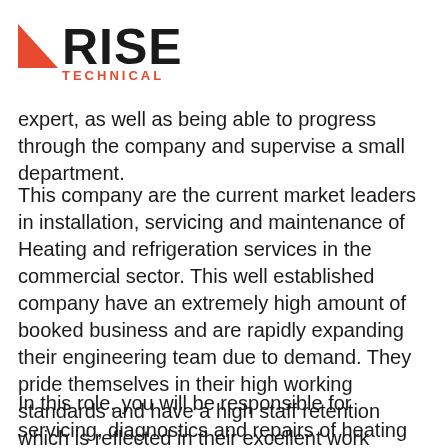[Figure (logo): Rise Technical logo with red triangle and bold RISE text above TECHNICAL in red]
expert, as well as being able to progress through the company and supervise a small department.
This company are the current market leaders in installation, servicing and maintenance of Heating and refrigeration services in the commercial sector. This well established company have an extremely high amount of booked business and are rapidly expanding their engineering team due to demand. They pride themselves in their high working standards and have a high staff retention which is reflected in their excellent work culture.
In this role, you will be responsible for servicing, diagnostics and repairs of heating systems for